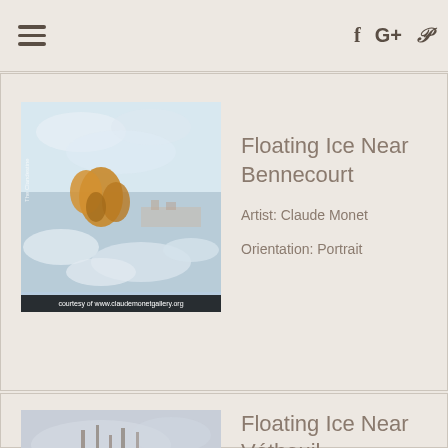Navigation bar with hamburger menu and social icons (Facebook, Google+, Pinterest)
[Figure (photo): Painting of floating ice near Bennecourt by Claude Monet — impressionist scene with icy river, orange-leaved trees, and light blue tones. Caption: courtesy of www.claudemonetgallery.org]
Floating Ice Near Bennecourt
Artist: Claude Monet
Orientation: Portrait
[Figure (photo): Painting of Floating Ice Near Vetheuil by Claude Monet — grey winter river scene with tall trees and misty background]
Floating Ice Near Vetheuil